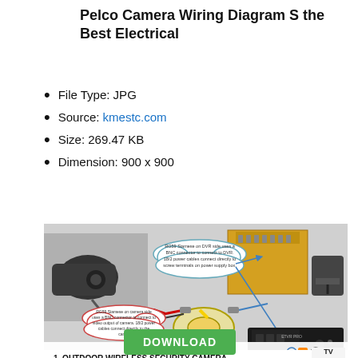Pelco Camera Wiring Diagram S the Best Electrical
File Type: JPG
Source: kmestc.com
Size: 269.47 KB
Dimension: 900 x 900
[Figure (engineering-diagram): Pelco camera wiring diagram showing RG59 Siamese cables, BNC connectors, power supply box, DVR unit, coaxial cable spool, and callout clouds explaining: 'RG59 Siamese on DVR side uses a BNC connector to connect to DVR. 18/2 power cables connect directly to screw terminals on power supply box.' and 'RG59 Siamese on camera side uses a BNC connector to connect to video output of camera. 18/2 power cables connect directly to the camera.' With ad overlay showing '1. OUTDOOR WIRELESS SECURITY CAMERA' search bar.]
DOWNLOAD